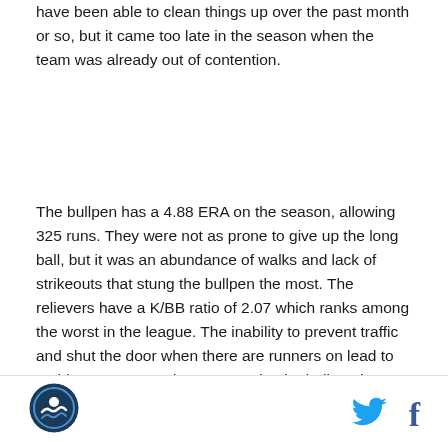have been able to clean things up over the past month or so, but it came too late in the season when the team was already out of contention.
The bullpen has a 4.88 ERA on the season, allowing 325 runs. They were not as prone to give up the long ball, but it was an abundance of walks and lack of strikeouts that stung the bullpen the most. The relievers have a K/BB ratio of 2.07 which ranks among the worst in the league. The inability to prevent traffic and shut the door when there are runners on lead to 26 blown saves on the year. Again, the bullpen has improved over the final month of the season, but if the Rockies want to improve, they need their relievers to contend at the start of the season.